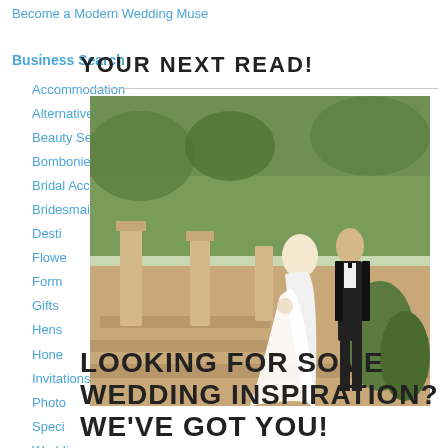Become a Modern Wedding Muse
Business Search
Accommodation
Alternative Wedding Bouquets
Beauty Services
Bomboniere
Bridal Accessories
Bridesmaids
Desti...
Flowe...
Form...
Gifts...
Hens...
Hone...
Invitations
Photo...
Speci...
Weddi...
YOUR NEXT READ!
[Figure (photo): Bride in white gown and groom in tuxedo on stone stairway in garden setting]
LOOKING FOR SOME WEDDING INSPIRATION? WE'VE GOT YOU!